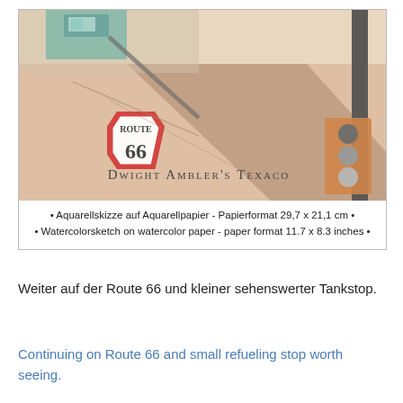[Figure (illustration): Watercolor illustration of Dwight Ambler's Texaco station along Route 66. Features a Route 66 shield sign, a traffic light, and building elements in warm terracotta and brown tones. Text 'Dwight Ambler's Texaco' is hand-lettered in the illustration.]
• Aquarellskizze auf Aquarellpapier - Papierformat 29,7 x 21,1 cm • • Watercolorsketch on watercolor paper - paper format 11.7 x 8.3 inches •
Weiter auf der Route 66 und kleiner sehenswerter Tankstop.
Continuing on Route 66 and small refueling stop worth seeing.